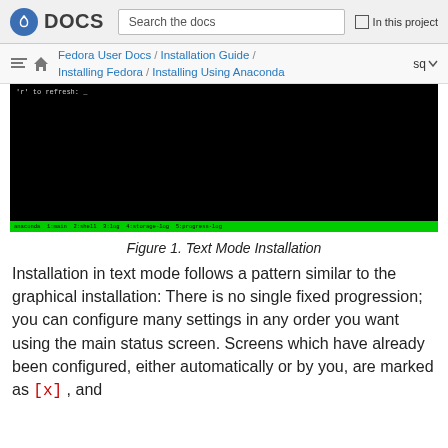DOCS | Search the docs | In this project
Fedora User Docs / Installation Guide / Installing Fedora / Installing Using Anaconda | sq
[Figure (screenshot): Terminal/text mode installation screenshot showing a black terminal screen with green status bar at the bottom reading: anaconda 1:main 2:shell 3:log 4:storage-log 5:progress-log]
Figure 1. Text Mode Installation
Installation in text mode follows a pattern similar to the graphical installation: There is no single fixed progression; you can configure many settings in any order you want using the main status screen. Screens which have already been configured, either automatically or by you, are marked as [x] , and